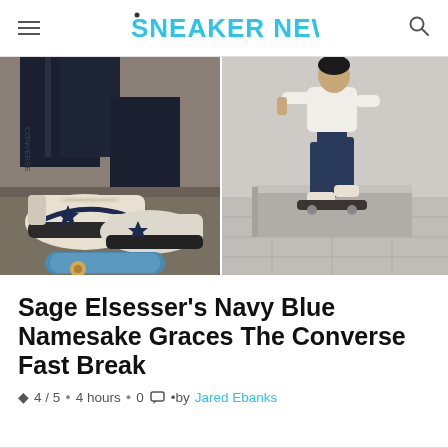SNEAKER NEWS
[Figure (photo): Two skateboarding photos side by side: left shows a close-up of Converse Fast Break sneakers in white and navy blue with a blue skateboard on asphalt; right shows a skater in navy pants and white top performing a trick on a concrete ledge.]
Sage Elsesser's Navy Blue Namesake Graces The Converse Fast Break
4 / 5 • 4 hours • 0 • by Jared Ebanks